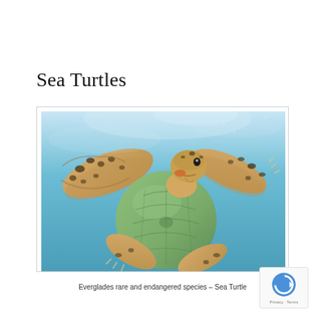Sea Turtles
[Figure (photo): Underwater photograph of a sea turtle swimming upward toward the surface, viewed from below. The turtle has a green-brown shell and spotted flippers, photographed against a blue ocean background.]
Everglades rare and endangered species – Sea Turtle